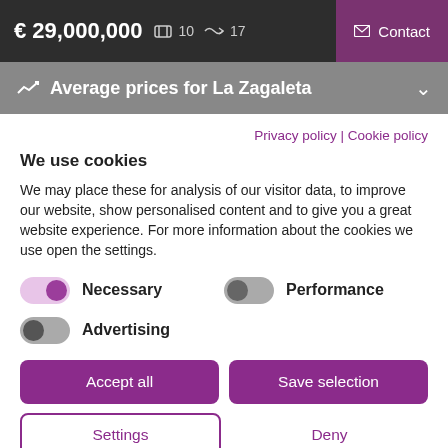€ 29,000,000  🛏 10  🚿 17  ✉ Contact
Average prices for La Zagaleta
Privacy policy | Cookie policy
We use cookies
We may place these for analysis of our visitor data, to improve our website, show personalised content and to give you a great website experience. For more information about the cookies we use open the settings.
Necessary
Performance
Advertising
Accept all
Save selection
Settings
Deny